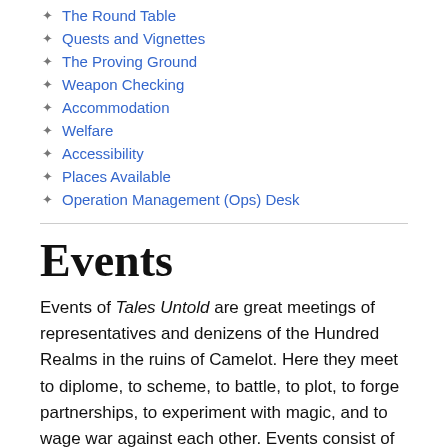The Round Table
Quests and Vignettes
The Proving Ground
Weapon Checking
Accommodation
Welfare
Accessibility
Places Available
Operation Management (Ops) Desk
Events
Events of Tales Untold are great meetings of representatives and denizens of the Hundred Realms in the ruins of Camelot. Here they meet to diplome, to scheme, to battle, to plot, to forge partnerships, to experiment with magic, and to wage war against each other. Events consist of a number of components, listed on this page.